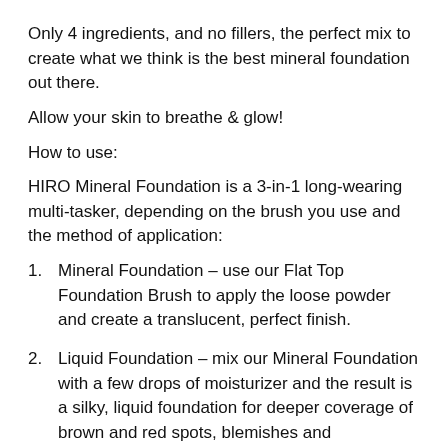Only 4 ingredients, and no fillers, the perfect mix to create what we think is the best mineral foundation out there.
Allow your skin to breathe & glow!
How to use:
HIRO Mineral Foundation is a 3-in-1 long-wearing multi-tasker, depending on the brush you use and the method of application:
1.    Mineral Foundation – use our Flat Top Foundation Brush to apply the loose powder and create a translucent, perfect finish.
2.    Liquid Foundation – mix our Mineral Foundation with a few drops of moisturizer and the result is a silky, liquid foundation for deeper coverage of brown and red spots, blemishes and imperfections.